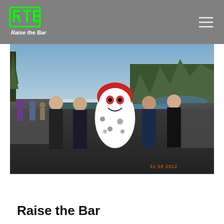Raise the Bar – navigation header with logo and hamburger menu
[Figure (photo): Group photo of four women in wetsuits posing with a large inflatable mascot character (red and white, shaped like a swim buoy with a cartoonish face) at an outdoor triathlon or swim event. Trees, water, and a crowd are visible in the background. Date stamp: 31.08.2012]
Tweet
Raise the Bar